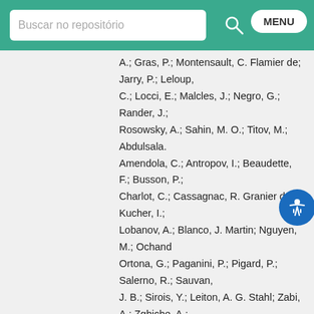Buscar no repositório
A.; Gras, P.; Montensault, C. Flamier de; Jarry, P.; Leloup, C.; Locci, E.; Malcles, J.; Negro, G.; Rander, J.; Rosowsky, A.; Sahin, M. O.; Titov, M.; Abdulsalam, Amendola, C.; Antropov, I.; Beaudette, F.; Busson, P.; Charlot, C.; Cassagnac, R. Granier de; Kucher, I.; Lobanov, A.; Blanco, J. Martin; Nguyen, M.; Ochando, Ortona, G.; Paganini, P.; Pigard, P.; Salerno, R.; Sauvan, J. B.; Sirois, Y.; Leiton, A. G. Stahl; Zabi, A.; Zghiche, A.; Agram, J. -L.; Andrea, J.; Bloch, D.; Brom, J. -M.; Chabert, E. C.; Cherepanov, V.; Collard, C.; Conte, E.; Fontaine, J. -C.; Gele, D.; Goerlach, U.; Jansova, M.; Le Bihan, A. -C.; Tonon, N.; Van Hove, P.; Gadrat, S.; Beauceron, S.; Bernet, C.; Boudoul, G.; Chanon, N.; Chierici, R.; Contardo, D.; Depasse, P.; El Mamouni, H.; Fay, J.; Finco, L.; Gascon, S.; Gouzevitch, M.; Grenier, G.; Ille, B.; Lagarde, F.; Laktineh, I. B.; Lattaud, H.; Lethuillier, M.; Mirabito, L.; Pequegnot, A. L.; Perries, S.; Popov, A.; Sordini, V.; Vander Donckt, M.; Viret, S.; Zhang, S.; Khvedelidze, A.; Tsamalaidze, Z.; Autermann, C.; Feld, L.;